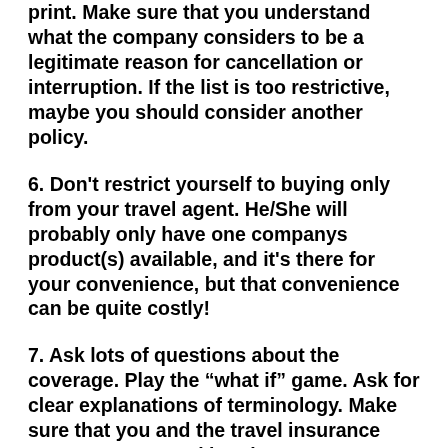print. Make sure that you understand what the company considers to be a legitimate reason for cancellation or interruption. If the list is too restrictive, maybe you should consider another policy.
6. Don't restrict yourself to buying only from your travel agent. He/She will probably only have one companys product(s) available, and it's there for your convenience, but that convenience can be quite costly!
7. Ask lots of questions about the coverage. Play the “what if” game. Ask for clear explanations of terminology. Make sure that you and the travel insurance company are speaking the same language.